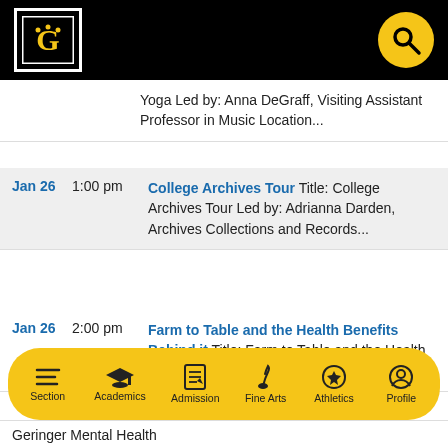Gustavus Adolphus College header with logo and search
Yoga Led by: Anna DeGraff, Visiting Assistant Professor in Music Location...
Jan 26  1:00 pm  College Archives Tour Title: College Archives Tour Led by: Adrianna Darden, Archives Collections and Records...
Jan 26  2:00 pm  Farm to Table and the Health Benefits Behind it Title: Farm to Table and the Health Benefits Behind it ...
Section  Academics  Admission  Fine Arts  Athletics  Profile
Geringer Mental Health